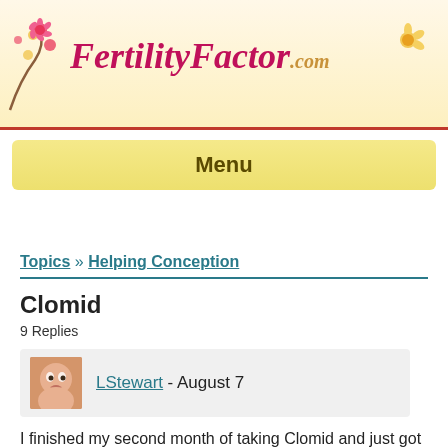[Figure (logo): FertilityFactor.com website header with pink floral logo on yellow/cream background]
Menu
Topics » Helping Conception
Clomid
9 Replies
LStewart - August 7
I finished my second month of taking Clomid and just got my period. Does anyone know if it is possible to skip a month